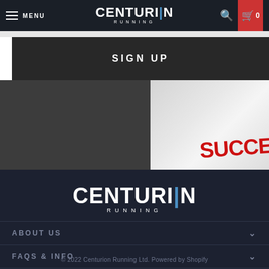MENU | CENTURION RUNNING | 0
[Figure (screenshot): Hero image with SIGN UP button on dark overlay, and a photo with SUCCE(SS) text in red on the right]
[Figure (logo): Centurion Running logo - white bold text with blue vertical bar accent, RUNNING spaced below]
ABOUT US
FAQS & INFO
© 2022 Centurion Running Ltd. Powered by Shopify